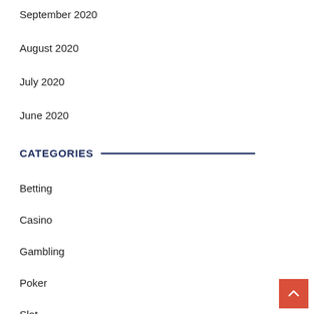September 2020
August 2020
July 2020
June 2020
CATEGORIES
Betting
Casino
Gambling
Poker
Slot